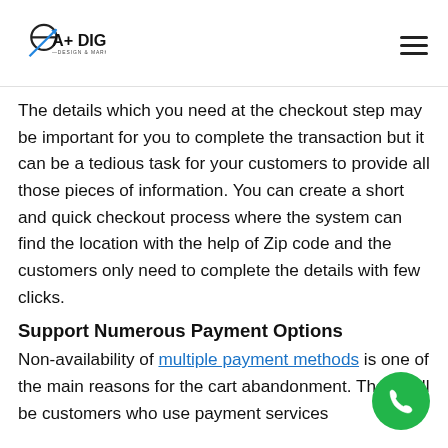A+ Digital Design & Marketing
The details which you need at the checkout step may be important for you to complete the transaction but it can be a tedious task for your customers to provide all those pieces of information. You can create a short and quick checkout process where the system can find the location with the help of Zip code and the customers only need to complete the details with few clicks.
Support Numerous Payment Options
Non-availability of multiple payment methods is one of the main reasons for the cart abandonment. There will be customers who use payment services